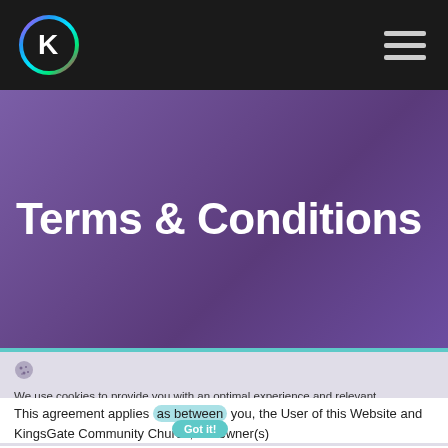[Figure (logo): KingsGate Church logo — circular gradient (rainbow) icon with letter K, on dark navbar]
Terms & Conditions
We use cookies to provide you with an optimal experience and relevant communication. Learn more or accept individual cookies.
This agreement applies as between you, the User of this Website and KingsGate Community Church, the owner(s)